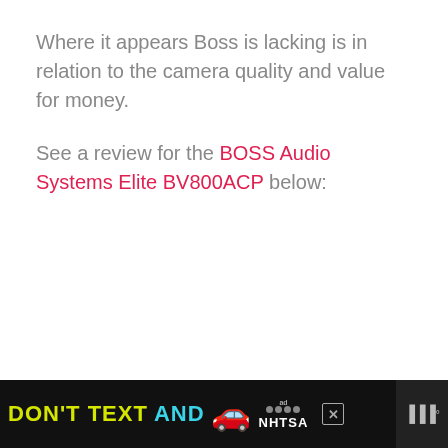Where it appears Boss is lacking is in relation to the camera quality and value for money.
See a review for the BOSS Audio Systems Elite BV800ACP below:
[Figure (other): Advertisement banner at the bottom of the page. Black background with yellow text 'DON'T TEXT' and cyan text 'AND', a red car emoji, an ad badge with NHTSA logo and star dots, a close button (X), and a weather icon with degree symbol.]